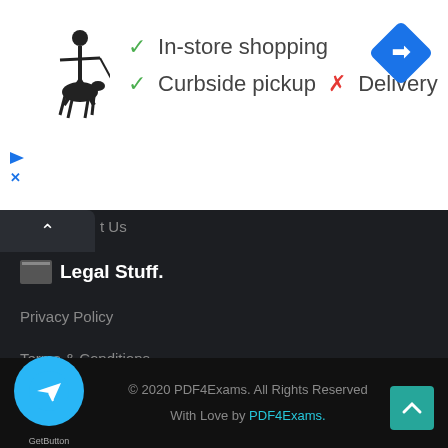[Figure (screenshot): Polo Ralph Lauren logo (horse and rider silhouette)]
✓ In-store shopping
✓ Curbside pickup  ✗ Delivery
[Figure (logo): Blue diamond navigation/direction icon]
[Figure (screenshot): Ad controls: play and close buttons]
t Us
Legal Stuff.
Privacy Policy
Terms & Conditions
Follow Us.
[Figure (infographic): Social media icon buttons row 1: Facebook, Telegram, SoundCloud, Twitter, LinkedIn, Dribbble, YouTube, Vimeo, Skype, unknown]
[Figure (infographic): Social media icon buttons row 2: Pinterest, RSS, TikTok]
[Figure (logo): Telegram floating chat button (blue circle with paper plane)]
© 2020 PDF4Exams. All Rights Reserved
With Love by PDF4Exams.
GetButton